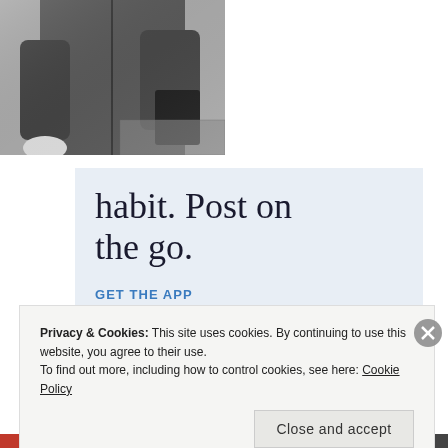[Figure (photo): Black and white photograph of a person in a long dark coat holding what appears to be a book or bag, partial view showing torso and hands]
habit. Post on the go.
GET THE APP
[Figure (logo): WordPress logo — circular blue icon with white W]
Privacy & Cookies: This site uses cookies. By continuing to use this website, you agree to their use.
To find out more, including how to control cookies, see here: Cookie Policy
Close and accept